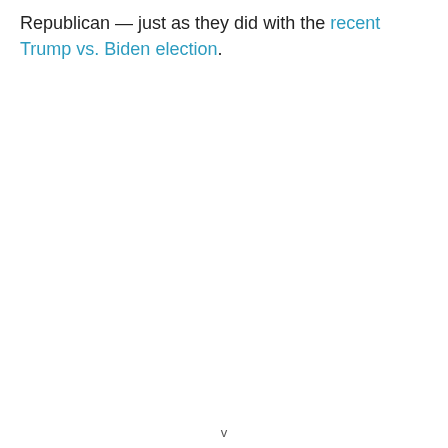Republican — just as they did with the recent Trump vs. Biden election.
v